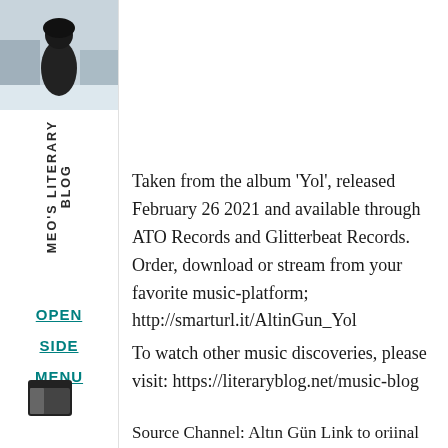[Figure (photo): Small thumbnail photo of a person in dark clothing against a snowy/winter background, positioned in the top-left sidebar area]
MEO'S LITERARY BLOG
OPEN SIDE MENU
Taken from the album 'Yol', released February 26 2021 and available through ATO Records and Glitterbeat Records. Order, download or stream from your favorite music-platform; http://smarturl.it/AltinGun_Yol
To watch other music discoveries, please visit: https://literaryblog.net/music-blog
Source Channel: Altın Gün Link to oriinal source: